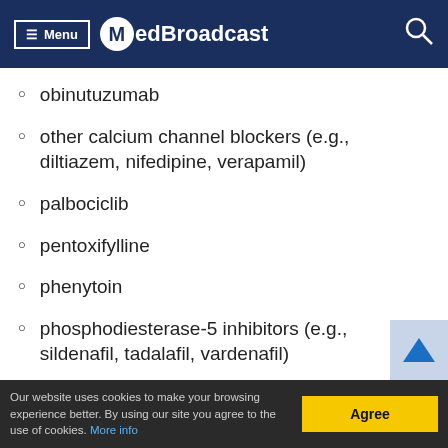Menu | MedBroadcast
obinutuzumab
other calcium channel blockers (e.g., diltiazem, nifedipine, verapamil)
palbociclib
pentoxifylline
phenytoin
phosphodiesterase-5 inhibitors (e.g., sildenafil, tadalafil, vardenafil)
pimozide
Our website uses cookies to make your browsing experience better. By using our site you agree to the use of cookies. More info